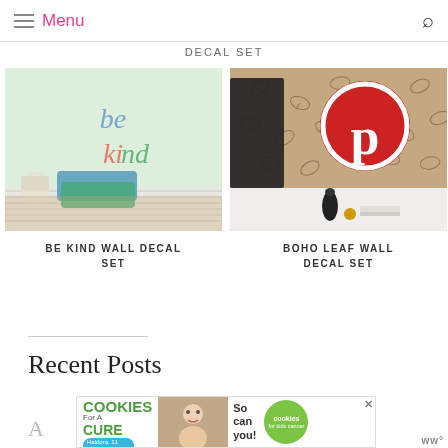Menu
DECAL SET
[Figure (photo): BE KIND WALL DECAL SET — photo of 'be kind' colorful lettering on mint green wall with pillows on floor]
BE KIND WALL DECAL SET
[Figure (photo): BOHO LEAF WALL DECAL SET — photo of boho leaf patterned wall with Pinterest logo circle sign on display]
BOHO LEAF WALL DECAL SET
Recent Posts
[Figure (other): Advertisement banner: I Bake COOKIES For A CURE - Haldora, 11 Cancer Survivor - So can you! - cookies for kids cancer]
A